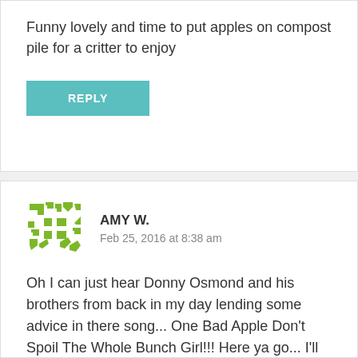Funny lovely and time to put apples on compost pile for a critter to enjoy
[Figure (other): Teal/turquoise REPLY button]
AMY W.
Feb 25, 2016 at 8:38 am
[Figure (other): Green geometric avatar icon for Amy W.]
Oh I can just hear Donny Osmond and his brothers from back in my day lending some advice in there song... One Bad Apple Don't Spoil The Whole Bunch Girl!!! Here ya go... I'll be singing this all day...thanks to you! :) https://youtu.be/DIFQvbHVk5o